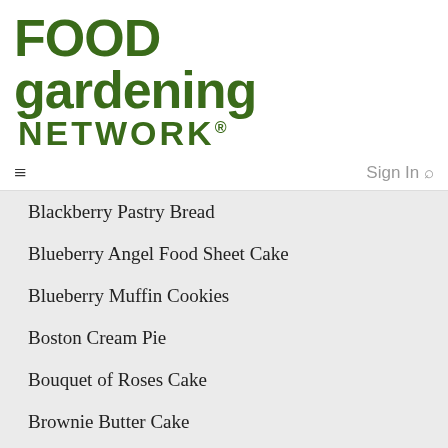[Figure (logo): Food Gardening Network logo in dark green bold serif font]
≡  Sign In 🔍
Blackberry Pastry Bread
Blueberry Angel Food Sheet Cake
Blueberry Muffin Cookies
Boston Cream Pie
Bouquet of Roses Cake
Brownie Butter Cake
Buttermilk Spice Layer Cake
Buttermilk Strawberry Shortcake
Buttery Thumbprints
Candied Lemonade Cake Bread Recipe